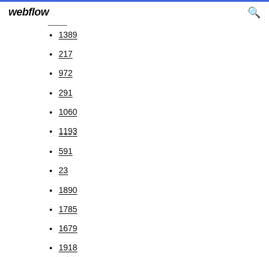webflow
1389
217
972
291
1060
1193
591
23
1890
1785
1679
1918